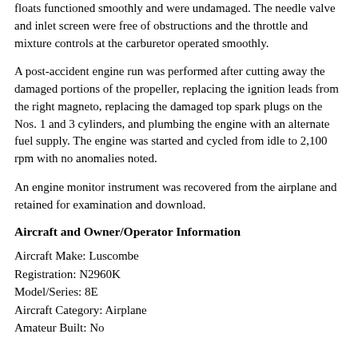floats functioned smoothly and were undamaged. The needle valve and inlet screen were free of obstructions and the throttle and mixture controls at the carburetor operated smoothly.
A post-accident engine run was performed after cutting away the damaged portions of the propeller, replacing the ignition leads from the right magneto, replacing the damaged top spark plugs on the Nos. 1 and 3 cylinders, and plumbing the engine with an alternate fuel supply. The engine was started and cycled from idle to 2,100 rpm with no anomalies noted.
An engine monitor instrument was recovered from the airplane and retained for examination and download.
Aircraft and Owner/Operator Information
Aircraft Make: Luscombe
Registration: N2960K
Model/Series: 8E
Aircraft Category: Airplane
Amateur Built: No